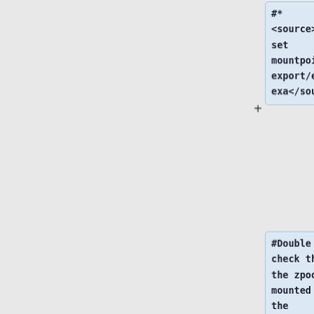#*
<source>zfs set mountpoint=/export/exa exa</source>
#Double check that the zpool mounted to the directory by checking the disk space in that directory
#*<source>df -h /export/<zpool-name>